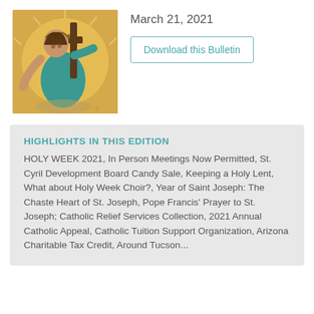[Figure (illustration): Religious illustration of Jesus Christ carrying the cross, wearing a crown of thorns, depicted in a colorful painted style with yellow/gold circular background and teal/green clothing.]
March 21, 2021
Download this Bulletin
HIGHLIGHTS IN THIS EDITION
HOLY WEEK 2021, In Person Meetings Now Permitted, St. Cyril Development Board Candy Sale, Keeping a Holy Lent, What about Holy Week Choir?, Year of Saint Joseph: The Chaste Heart of St. Joseph, Pope Francis' Prayer to St. Joseph; Catholic Relief Services Collection, 2021 Annual Catholic Appeal, Catholic Tuition Support Organization, Arizona Charitable Tax Credit, Around Tucson...